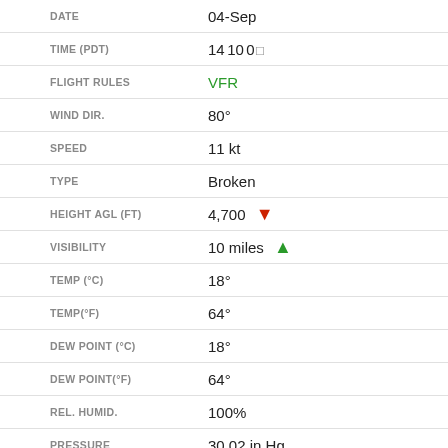| Field | Value |
| --- | --- |
| DATE | 04-Sep |
| TIME (PDT) | 14:10:00 |
| FLIGHT RULES | VFR |
| WIND DIR. | 80° |
| SPEED | 11 kt |
| TYPE | Broken |
| HEIGHT AGL (FT) | 4,700 ↓ |
| VISIBILITY | 10 miles ↑ |
| TEMP (°C) | 18° |
| TEMP(°F) | 64° |
| DEW POINT (°C) | 18° |
| DEW POINT(°F) | 64° |
| REL. HUMID. | 100% |
| PRESSURE | 30.02 in Hg |
| DENSITY ALTITUDE | 274 ft |
| REMARKS |  |
| DATE | 04-Sep |
| TIME (PDT) | 14:00:00 |
| FLIGHT RULES | MVFR |
| WIND DIR. | 90° |
| SPEED | 11 kt |